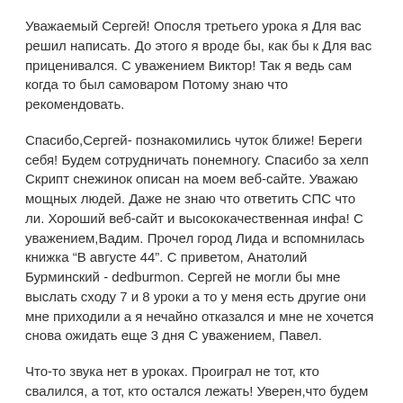Уважаемый Сергей! Опосля третьего урока я Для вас решил написать. До этого я вроде бы, как бы к Для вас приценивался. С уважением Виктор! Так я ведь сам когда то был самоваром Потому знаю что рекомендовать.
Спасибо,Сергей- познакомились чуток ближе! Береги себя! Будем сотрудничать понемногу. Спасибо за хелп Скрипт снежинок описан на моем веб-сайте. Уважаю мощных людей. Даже не знаю что ответить СПС что ли. Хороший веб-сайт и высококачественная инфа! С уважением,Вадим. Прочел город Лида и вспомнилась книжка "В августе 44". С приветом, Анатолий Бурминский - dedburmon. Сергей не могли бы мне выслать сходу 7 и 8 уроки а то у меня есть другие они мне приходили а я нечайно отказался и мне не хочется снова ожидать еще 3 дня С уважением, Павел.
Что-то звука нет в уроках. Проиграл не тот, кто свалился, а тот, кто остался лежать! Уверен,что будем дружить веб-сайтами и не лишь сайтами! Привет Серег Ответил для тебя на мыльник Жду ответа от тебя уже. Этот курс обучает HTML с нуля. Опосля этого вы создадите собственный неповторимый веб-сайт сами и с полного